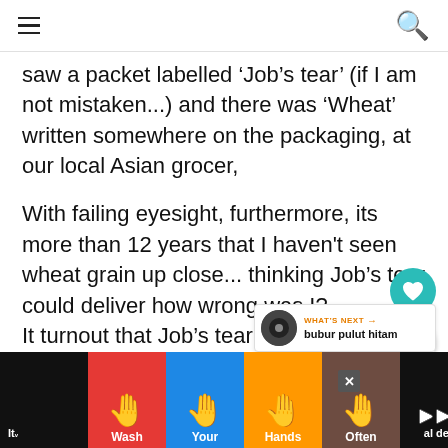navigation header with hamburger menu and search icon
saw a packet labelled 'Job's tear' (if I am not mistaken...) and there was 'Wheat' written somewhere on the packaging, at our local Asian grocer,
With failing eyesight, furthermore, its more than 12 years that I haven't seen wheat grain up close... thinking Job's tear could deliver how wrong was I?
It turnout that Job's tear was just Barley .v.
[Figure (infographic): Ad banner showing 'Wash Your Hands Often' with coloured hand icons on red, blue, orange and brown backgrounds]
Itv ... al deals